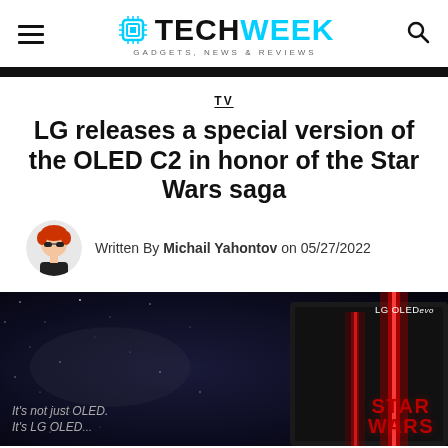TECHWEEK GADGETS, NEWS & REVIEWS
TV
LG releases a special version of the OLED C2 in honor of the Star Wars saga
Written By Michail Yahontov on 05/27/2022
[Figure (photo): Star Wars themed LG OLED evo TV promotional image with lightsabers, dark space background, LG OLED evo branding, Star Wars logo, and text 'It's not just OLED. It's LG OLED']